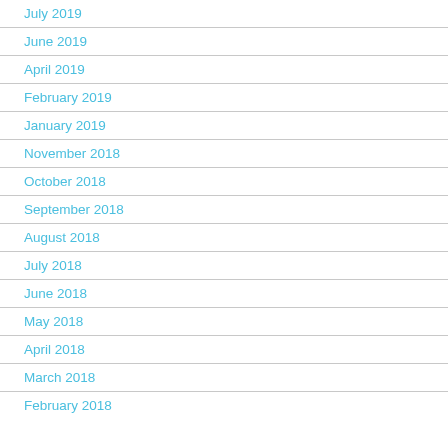July 2019
June 2019
April 2019
February 2019
January 2019
November 2018
October 2018
September 2018
August 2018
July 2018
June 2018
May 2018
April 2018
March 2018
February 2018